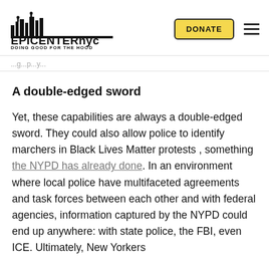EPICENTER NYC — DOING GOOD FOR THE HOOD | DONATE
A double-edged sword
Yet, these capabilities are always a double-edged sword. They could also allow police to identify marchers in Black Lives Matter protests , something the NYPD has already done. In an environment where local police have multifaceted agreements and task forces between each other and with federal agencies, information captured by the NYPD could end up anywhere: with state police, the FBI, even ICE. Ultimately, New Yorkers